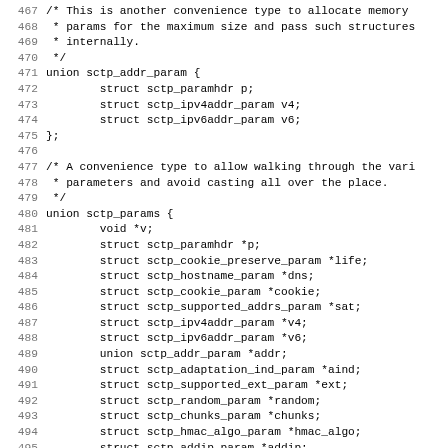Code listing lines 467-498: C source code showing union sctp_addr_param and union sctp_params definitions